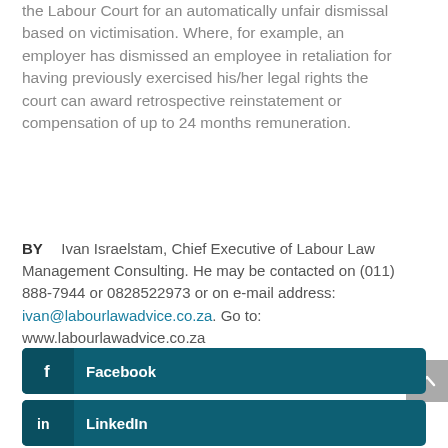the Labour Court for an automatically unfair dismissal based on victimisation. Where, for example, an employer has dismissed an employee in retaliation for having previously exercised his/her legal rights the court can award retrospective reinstatement or compensation of up to 24 months remuneration.
BY   Ivan Israelstam, Chief Executive of Labour Law Management Consulting. He may be contacted on (011) 888-7944 or 0828522973 or on e-mail address: ivan@labourlawadvice.co.za. Go to: www.labourlawadvice.co.za
[Figure (other): Facebook social media button — dark teal rounded rectangle with Facebook 'f' icon and label 'Facebook']
[Figure (other): LinkedIn social media button — dark teal rounded rectangle with LinkedIn 'in' icon and label 'LinkedIn']